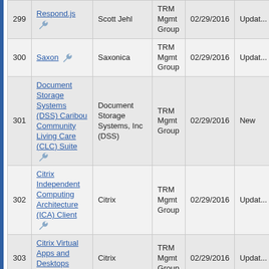| # | Name | Vendor | Group | Date | Status |
| --- | --- | --- | --- | --- | --- |
| 299 | Respond.js | Scott Jehl | TRM Mgmt Group | 02/29/2016 | Updat... |
| 300 | Saxon | Saxonica | TRM Mgmt Group | 02/29/2016 | Updat... |
| 301 | Document Storage Systems (DSS) Caribou Community Living Care (CLC) Suite | Document Storage Systems, Inc (DSS) | TRM Mgmt Group | 02/29/2016 | New |
| 302 | Citrix Independent Computing Architecture (ICA) Client | Citrix | TRM Mgmt Group | 02/29/2016 | Updat... |
| 303 | Citrix Virtual Apps and Desktops (CVAD) | Citrix | TRM Mgmt Group | 02/29/2016 | Updat... |
| 304 | CohortMethod | Observational Health Data Sciences & Informatics (OHDSI) | TRM Mgmt Group | 02/29/2016 | New |
| 305 | DataPower Gateway | International Business Machines (IBM) | TRM Mgmt Group | 02/29/2016 | Updat... |
| 306 | Workbench - Drupal Module | Drupal | TRM Mgmt Group | 02/29/2016 | New |